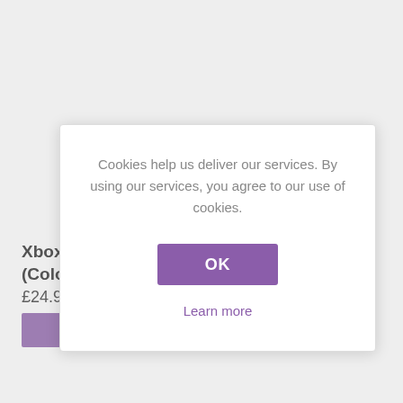Xbox : (Colour
£24.95
[Figure (screenshot): Purple add-to-basket button partially visible in background]
Cookies help us deliver our services. By using our services, you agree to our use of cookies.
OK
Learn more